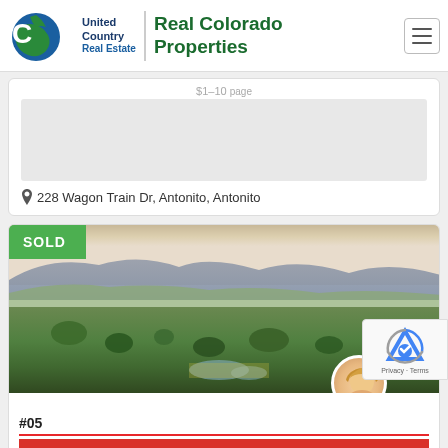United Country Real Estate | Real Colorado Properties
228 Wagon Train Dr, Antonito, Antonito
[Figure (photo): Real estate listing photo showing a green landscape with rolling hills, mountains in the background, scattered trees and shrubs across wide fields, with a SOLD badge overlay]
#05... Leave a message for Teresa